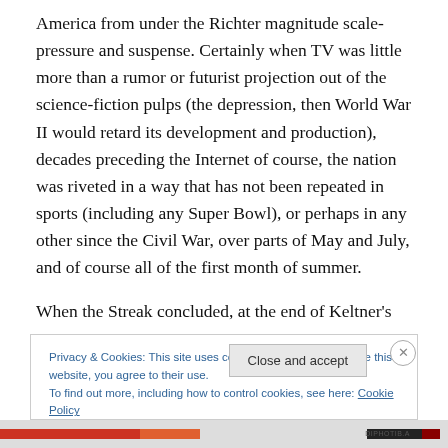America from under the Richter magnitude scale-pressure and suspense. Certainly when TV was little more than a rumor or futurist projection out of the science-fiction pulps (the depression, then World War II would retard its development and production), decades preceding the Internet of course, the nation was riveted in a way that has not been repeated in sports (including any Super Bowl), or perhaps in any other since the Civil War, over parts of May and July, and of course all of the first month of summer.
When the Streak concluded, at the end of Keltner's
Privacy & Cookies: This site uses cookies. By continuing to use this website, you agree to their use.
To find out more, including how to control cookies, see here: Cookie Policy